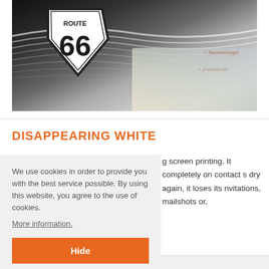[Figure (photo): A Route 66 road sign artwork with swirling black and white layered paper/paint design, showing the number 66 in a shield shape. Watermark text visible in upper right area.]
DISAPPEARING WHITE
We use cookies in order to provide you with the best service possible. By using this website, you agree to the use of cookies.
More information.
g screen printing. It completely on contact s dry again, it loses its nvitations, mailshots or,